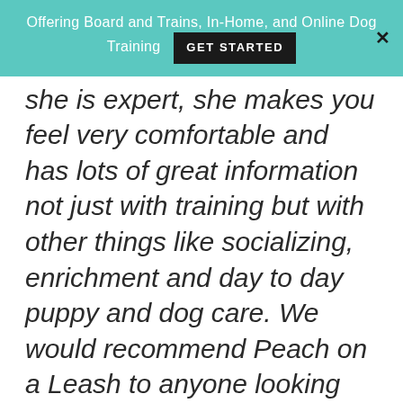Offering Board and Trains, In-Home, and Online Dog Training  GET STARTED  ✕
she is expert, she makes you feel very comfortable and has lots of great information not just with training but with other things like socializing, enrichment and day to day puppy and dog care. We would recommend Peach on a Leash to anyone looking for a positive training expierience that helps you bond with your new puppy or dog and also most